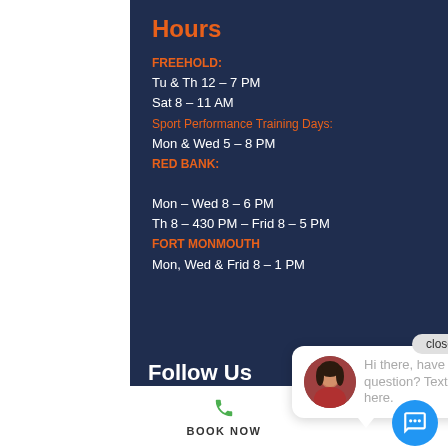Hours
FREEHOLD:
Tu & Th 12 – 7 PM
Sat 8 – 11 AM
Sport Performance Training Days:
Mon & Wed 5 – 8 PM
RED BANK:
Mon – Wed 8 – 6 PM
Th 8 – 430 PM –  Frid 8 – 5 PM
FORT MONMOUTH
Mon, Wed & Frid 8 – 1 PM
Follow Us
© Copyright, Velocity Chiropractic and Sports Rehab, All Rights Reserved. Privacy Policy |
BOOK NOW
[Figure (other): Chat popup with avatar photo of a woman with text: Hi there, have a question? Text us here.]
close